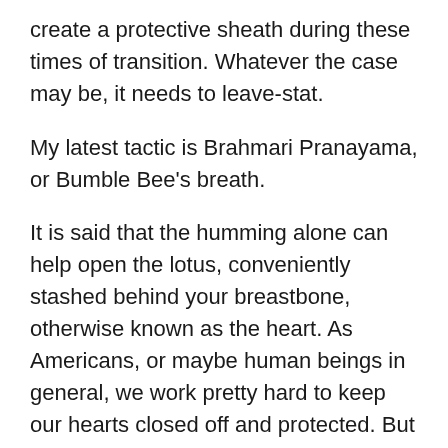create a protective sheath during these times of transition. Whatever the case may be, it needs to leave-stat.
My latest tactic is Brahmari Pranayama, or Bumble Bee's breath.
It is said that the humming alone can help open the lotus, conveniently stashed behind your breastbone, otherwise known as the heart. As Americans, or maybe human beings in general, we work pretty hard to keep our hearts closed off and protected. But that gets exhausting, take it from a true Scorpio cynic.
The vibrational sound Hum, or Ham, is actually the bija mantra for the element Ether. Putting this sound into practice can help create more internal spaciousness. I